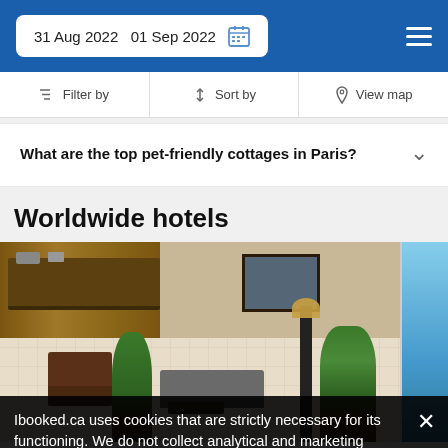31 Aug 2022   01 Sep 2022
Filter by   Sort by   View map
What are the top pet-friendly cottages in Paris?
Worldwide hotels
[Figure (photo): Hotel lobby interior with wooden paneling, chairs, sofa, plants, and lamp. A partial view of another image is visible on the right edge.]
Great · 26 reviews
Hotel
Super 8 Grand Rapids
Ibooked.ca uses cookies that are strictly necessary for its functioning. We do not collect analytical and marketing cookies.